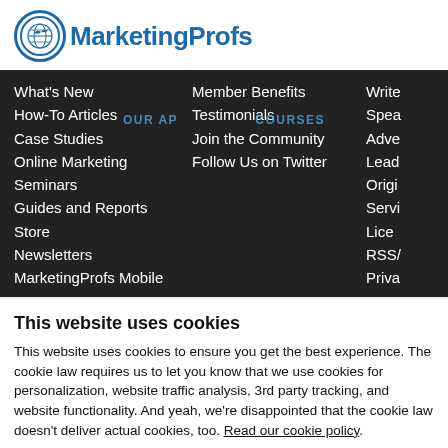[Figure (logo): MarketingProfs logo: blue circle with globe/bird icon and bold blue text 'MarketingProfs']
[Figure (screenshot): Dark navigation menu band with white text links: What's New, How-To Articles, Case Studies, Online Marketing, Seminars, Guides and Reports, Store, Newsletters, MarketingProfs Mobile in first column; Member Benefits, Testimonials, Join the Community, Follow Us on Twitter in second column; Write, Spea, Adve, Lead, Origi, Servi, Lice, RSS/, Priva in partially visible third column. Blue text overlays read 'OUR AP... COURSES']
This website uses cookies
This website uses cookies to ensure you get the best experience. The cookie law requires us to let you know that we use cookies for personalization, website traffic analysis, 3rd party tracking, and website functionality. And yeah, we're disappointed that the cookie law doesn't deliver actual cookies, too. Read our cookie policy.
Use necessary cookies only
Allow all cookies
Show details